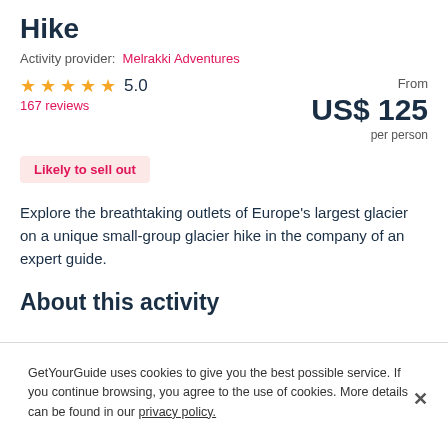Hike
Activity provider: Melrakki Adventures
★ ★ ★ ★ ★  5.0    From US$ 125 per person
167 reviews
Likely to sell out
Explore the breathtaking outlets of Europe's largest glacier on a unique small-group glacier hike in the company of an expert guide.
About this activity
GetYourGuide uses cookies to give you the best possible service. If you continue browsing, you agree to the use of cookies. More details can be found in our privacy policy.